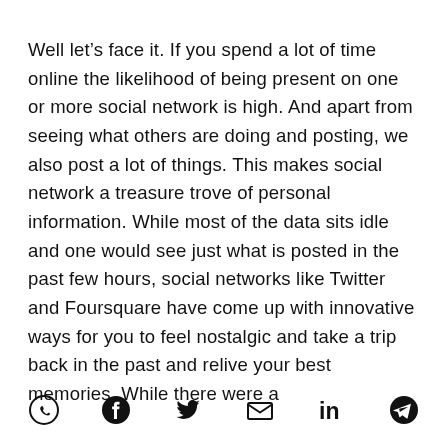Well let’s face it. If you spend a lot of time online the likelihood of being present on one or more social network is high. And apart from seeing what others are doing and posting, we also post a lot of things. This makes social network a treasure trove of personal information. While most of the data sits idle and one would see just what is posted in the past few hours, social networks like Twitter and Foursquare have come up with innovative ways for you to feel nostalgic and take a trip back in the past and relive your best memories. While there were a
[Figure (infographic): Row of six social media / share icons: WhatsApp, Facebook, Twitter, Email (envelope), LinkedIn, Telegram]